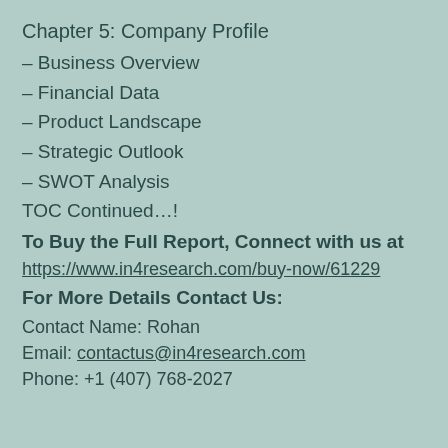Chapter 5: Company Profile
– Business Overview
– Financial Data
– Product Landscape
– Strategic Outlook
– SWOT Analysis
TOC Continued…!
To Buy the Full Report, Connect with us at
https://www.in4research.com/buy-now/61229
For More Details Contact Us:
Contact Name: Rohan
Email: contactus@in4research.com
Phone: +1 (407) 768-2027